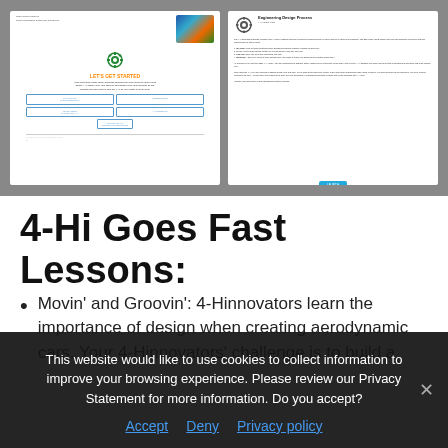[Figure (screenshot): Two document page thumbnails showing 4-H learning materials. Left page has a 4-H gear logo, 'LET'S GET STARTED' heading in orange, descriptive text, and navigation buttons. Right page shows an Engineering Design Process section with a gear logo, descriptive text, list items, and a blue button.]
4-Hi Goes Fast Lessons:
Movin' and Groovin': 4-Hinnovators learn the importance of design when creating aerodynamic cars. Your 4-Hinnovators' challenge is to build a
This website would like to use cookies to collect information to improve your browsing experience. Please review our Privacy Statement for more information. Do you accept?
Accept   Deny   Privacy policy